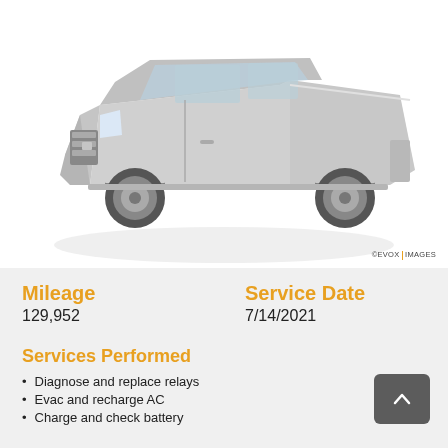[Figure (photo): Silver Honda Ridgeline pickup truck, 3/4 front view on white background]
©EVOX IMAGES
Mileage
129,952
Service Date
7/14/2021
Services Performed
Diagnose and replace relays
Evac and recharge AC
Charge and check battery